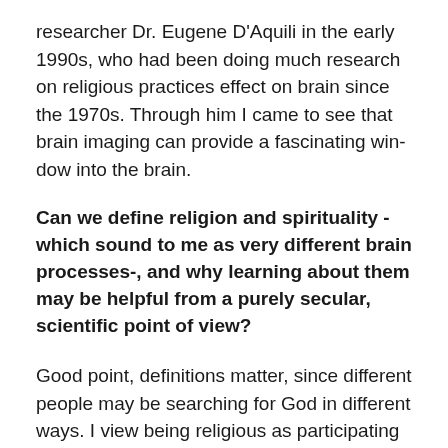researcher Dr. Eugene D'Aquili in the early 1990s, who had been doing much research on religious practices effect on brain since the 1970s. Through him I came to see that brain imaging can provide a fascinating window into the brain.
Can we define religion and spirituality -which sound to me as very different brain processes-, and why learning about them may be helpful from a purely secular, scientific point of view?
Good point, definitions matter, since different people may be searching for God in different ways. I view being religious as participating in organized rituals and shared beliefs, such as going to church. Being spiritual, on the other hand, is more of an individual practice, whether we call it meditation, or relaxation, or prayer,